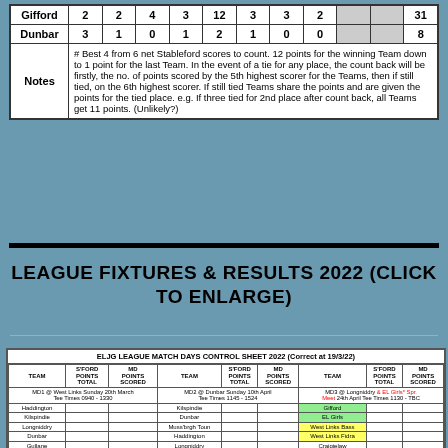|  | col1 | col2 | col3 | col4 | col5 | col6 | col7 | col8 | gray1 | gray2 | Total |
| --- | --- | --- | --- | --- | --- | --- | --- | --- | --- | --- | --- |
| Gifford | 2 | 2 | 4 | 3 | 12 | 3 | 3 | 2 |  |  | 31 |
| Dunbar | 3 | 1 | 0 | 1 | 2 | 1 | 0 | 0 |  |  | 8 |
| Notes | # Best 4 from 6 net Stableford scores to count. 12 points for the winning Team down to 1 point for the last Team. In the event of a tie for any place, the count back will be firstly, the no. of points scored by the 5th highest scorer for the Teams, then if still tied, on the 6th highest scorer. If still tied Teams share the points and are given the points for the tied place. e.g. If three tied for 2nd place after count back, all Teams get 11 points. (Unlikely?) |  |  |  |  |  |  |  |  |  |
LEAGUE FIXTURES & RESULTS 2022 (CLICK TO ENLARGE)
| ELJG LEAGUE MATCH DAYS CONTROL SHEET 2022 (Correct at 19/3/22) |
| --- |
| TEAM | S'FORD POINTS TOTAL | MD POINTS SCORED | TEAM | S'FORD POINTS TOTAL | MD POINTS SCORED | TEAM | S'FORD POINTS TOTAL | MD POINTS SCORED |
| MD1 @ West Links Sunday 20th March Tee Times 0940 - 1330 |  |  | MD2 @ Dunbar Sunday 10th April Tee Times 1145 - 1524 |  |  | MD3 @ Longniddry & EL Girls* Spr. Meet 24th April Tee Times 1130 - TBC |  |  |
| Haddington |  |  | Kilspindie |  |  | Gifford |  |  |
| Kilspindie |  |  | Dunbar |  |  | EL Girls |  |  |
| Longniddry |  |  | Muss'brgh Toun |  |  | West Links Bass |  |  |
| Dunbar |  |  | Haddington |  |  | West Links Fidra |  |  |
| Gullane |  |  | Longniddry |  |  | Craigielaw |  |  |